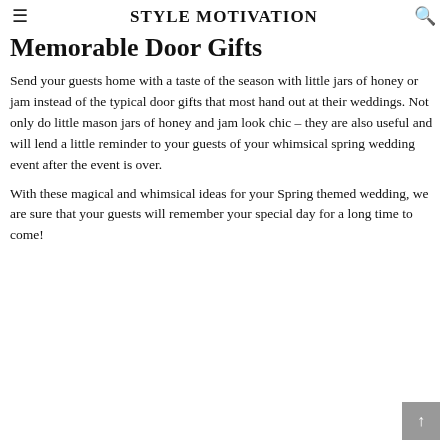STYLE MOTIVATION
Memorable Door Gifts
Send your guests home with a taste of the season with little jars of honey or jam instead of the typical door gifts that most hand out at their weddings. Not only do little mason jars of honey and jam look chic – they are also useful and will lend a little reminder to your guests of your whimsical spring wedding event after the event is over.
With these magical and whimsical ideas for your Spring themed wedding, we are sure that your guests will remember your special day for a long time to come!